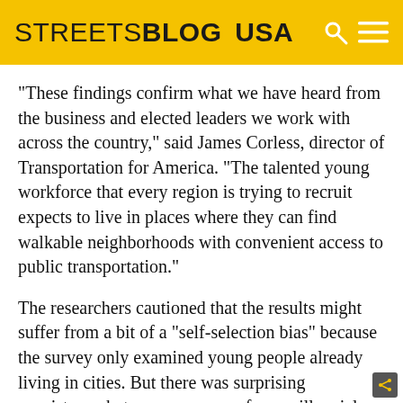STREETSBLOG USA
“These findings confirm what we have heard from the business and elected leaders we work with across the country,” said James Corless, director of Transportation for America. “The talented young workforce that every region is trying to recruit expects to live in places where they can find walkable neighborhoods with convenient access to public transportation.”
The researchers cautioned that the results might suffer from a bit of a “self-selection bias” because the survey only examined young people already living in cities. But there was surprising consistency between responses from millennials living in stronger transit cities like San Francisco and weaker ones like